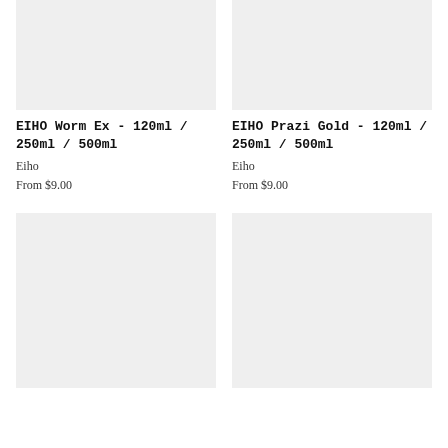[Figure (photo): Product image placeholder - light gray rectangle for EIHO Worm Ex]
[Figure (photo): Product image placeholder - light gray rectangle for EIHO Prazi Gold]
EIHO Worm Ex - 120ml / 250ml / 500ml
Eiho
From $9.00
EIHO Prazi Gold - 120ml / 250ml / 500ml
Eiho
From $9.00
[Figure (photo): Product image placeholder - light gray rectangle (bottom left)]
[Figure (photo): Product image placeholder - light gray rectangle (bottom right)]